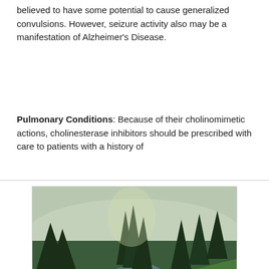believed to have some potential to cause generalized convulsions. However, seizure activity also may be a manifestation of Alzheimer's Disease.
Pulmonary Conditions: Because of their cholinomimetic actions, cholinesterase inhibitors should be prescribed with care to patients with a history of
[Figure (photo): Advertisement banner showing a forest landscape with a river/stream, evergreen trees, and mountains in background. Text overlay reads 'Recently diagnosed with bipolar disorder?' and 'DOWNLOAD OUR FREE EBOOK NOW.' with a white underline.]
advertisement